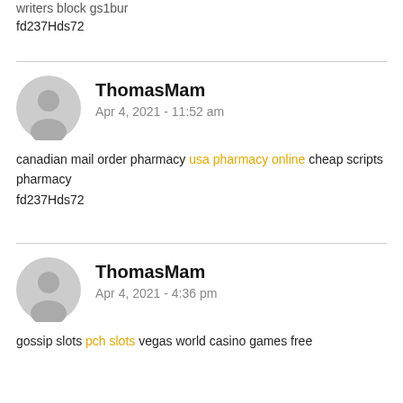writers block gs1bur
fd237Hds72
ThomasMam
Apr 4, 2021 - 11:52 am
canadian mail order pharmacy usa pharmacy online cheap scripts pharmacy
fd237Hds72
ThomasMam
Apr 4, 2021 - 4:36 pm
gossip slots pch slots vegas world casino games free